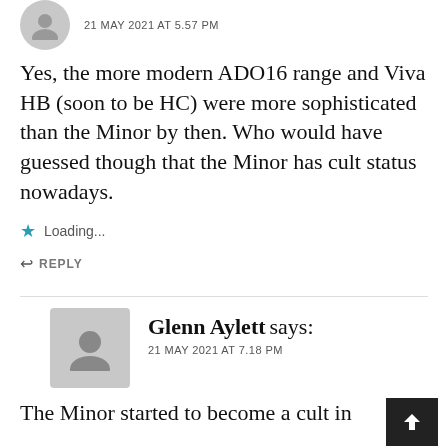21 MAY 2021 AT 5.57 PM
Yes, the more modern ADO16 range and Viva HB (soon to be HC) were more sophisticated than the Minor by then. Who would have guessed though that the Minor has cult status nowadays.
Loading...
REPLY
Glenn Aylett says:
21 MAY 2021 AT 7.18 PM
The Minor started to become a cult in 1970s when...